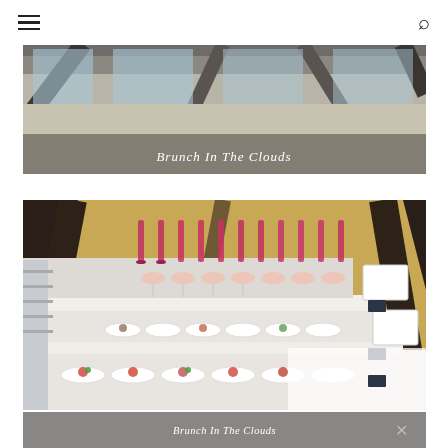Navigation header with hamburger menu and search icon
[Figure (photo): Interior architectural photo with text overlay reading 'Brunch In The Clouds']
[Figure (photo): Catering display table with champagne flutes, cocktail glasses, and multiple tiers of small food dishes in bowls and plates]
[Figure (photo): Bottom banner overlay reading 'Brunch In The Clouds' with close/X button]